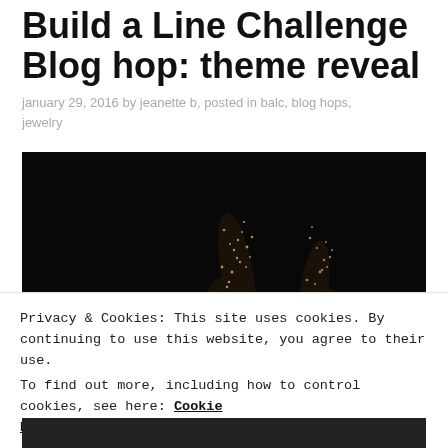Build a Line Challenge Blog hop: theme reveal
january 29, 2016 by jeanette b, posted in balc, blog hops, jewelry
[Figure (photo): Dark photograph showing two hands/gloves covered in sparkly gems or sequins raised against a black background]
Privacy & Cookies: This site uses cookies. By continuing to use this website, you agree to their use.
To find out more, including how to control cookies, see here: Cookie Policy
Close and accept